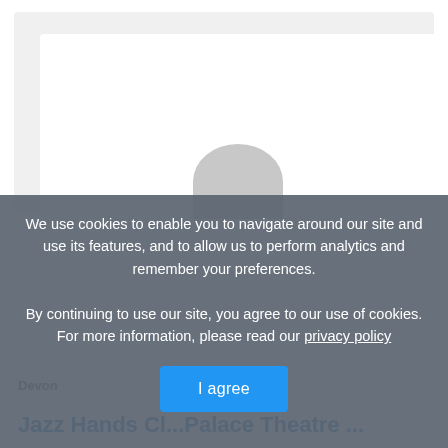[Figure (screenshot): Website screenshot showing a light gray card/browser frame with a white inner panel and a gray person silhouette avatar at the bottom center.]
Devon
Jazz Hands Cl...Palace Theatre ...
We use cookies to enable you to navigate around our site and use its features, and to allow us to perform analytics and remember your preferences.
By continuing to use our site, you agree to our use of cookies. For more information, please read our privacy policy
I agree